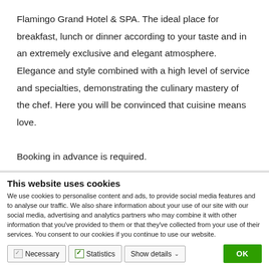Flamingo Grand Hotel & SPA. The ideal place for breakfast, lunch or dinner according to your taste and in an extremely exclusive and elegant atmosphere. Elegance and style combined with a high level of service and specialties, demonstrating the culinary mastery of the chef. Here you will be convinced that cuisine means love.
Booking in advance is required.
23 seats
This website uses cookies
We use cookies to personalise content and ads, to provide social media features and to analyse our traffic. We also share information about your use of our site with our social media, advertising and analytics partners who may combine it with other information that you've provided to them or that they've collected from your use of their services. You consent to our cookies if you continue to use our website.